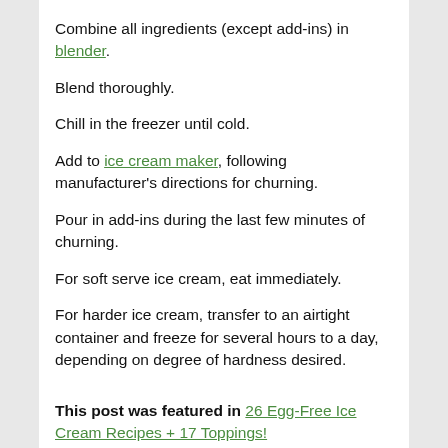Combine all ingredients (except add-ins) in blender.
Blend thoroughly.
Chill in the freezer until cold.
Add to ice cream maker, following manufacturer's directions for churning.
Pour in add-ins during the last few minutes of churning.
For soft serve ice cream, eat immediately.
For harder ice cream, transfer to an airtight container and freeze for several hours to a day, depending on degree of hardness desired.
This post was featured in 26 Egg-Free Ice Cream Recipes + 17 Toppings!